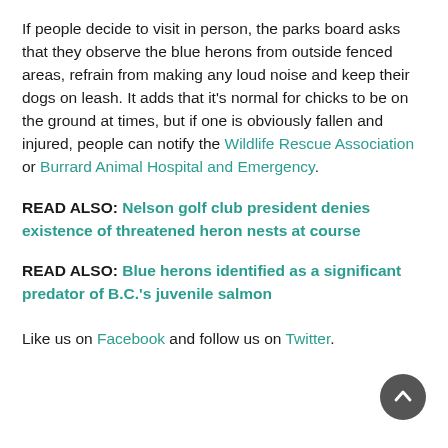If people decide to visit in person, the parks board asks that they observe the blue herons from outside fenced areas, refrain from making any loud noise and keep their dogs on leash. It adds that it's normal for chicks to be on the ground at times, but if one is obviously fallen and injured, people can notify the Wildlife Rescue Association or Burrard Animal Hospital and Emergency.
READ ALSO: Nelson golf club president denies existence of threatened heron nests at course
READ ALSO: Blue herons identified as a significant predator of B.C.'s juvenile salmon
Like us on Facebook and follow us on Twitter.